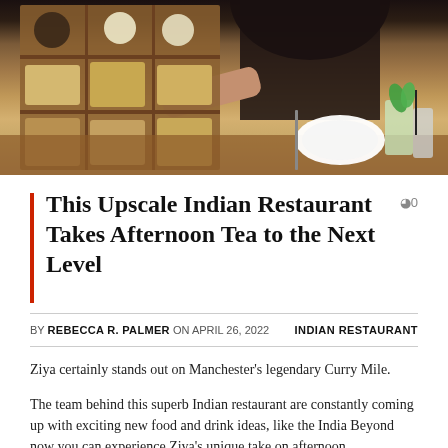[Figure (photo): Photo of a woman in black top behind a wooden display shelf with various Indian food items and drinks including a white plate and mint garnished beverages on a wooden table]
This Upscale Indian Restaurant Takes Afternoon Tea to the Next Level
BY REBECCA R. PALMER ON APRIL 26, 2022   INDIAN RESTAURANT
Ziya certainly stands out on Manchester's legendary Curry Mile.
The team behind this superb Indian restaurant are constantly coming up with exciting new food and drink ideas, like the India Beyond now you can experience Ziya's unique take on afternoon